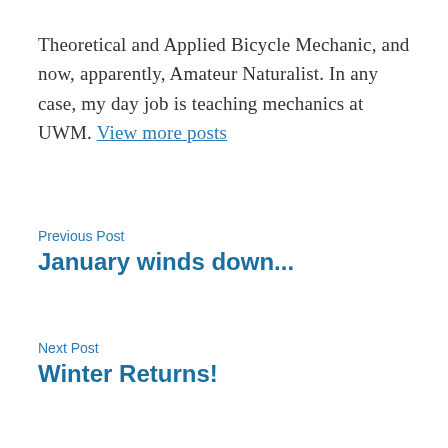Theoretical and Applied Bicycle Mechanic, and now, apparently, Amateur Naturalist. In any case, my day job is teaching mechanics at UWM. View more posts
Previous Post
January winds down...
Next Post
Winter Returns!